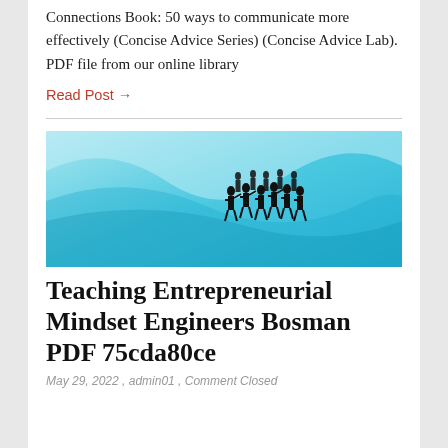Connections Book: 50 ways to communicate more effectively (Concise Advice Series) (Concise Advice Lab). PDF file from our online library
Read Post →
[Figure (illustration): Blue abstract wave background with silhouettes of a group of people standing, resembling a band or orchestra]
Teaching Entrepreneurial Mindset Engineers Bosman PDF 75cda80ce
May 29, 2022 , admin01 , Comment Closed